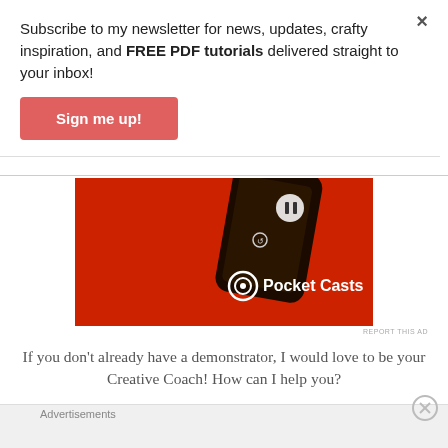Subscribe to my newsletter for news, updates, crafty inspiration, and FREE PDF tutorials delivered straight to your inbox!
Sign me up!
[Figure (photo): Pocket Casts advertisement banner showing a red smartphone with podcast app interface on a red background, with Pocket Casts logo and text]
REPORT THIS AD
If you don't already have a demonstrator, I would love to be your Creative Coach! How can I help you?
Advertisements